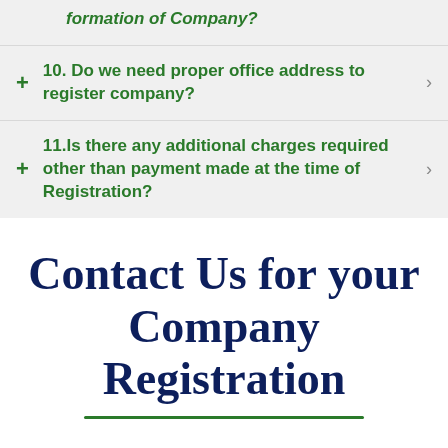formation of Company?
10. Do we need proper office address to register company?
11.Is there any additional charges required other than payment made at the time of Registration?
Contact Us for your Company Registration